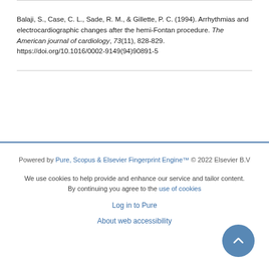Balaji, S., Case, C. L., Sade, R. M., & Gillette, P. C. (1994). Arrhythmias and electrocardiographic changes after the hemi-Fontan procedure. The American journal of cardiology, 73(11), 828-829. https://doi.org/10.1016/0002-9149(94)90891-5
Powered by Pure, Scopus & Elsevier Fingerprint Engine™ © 2022 Elsevier B.V

We use cookies to help provide and enhance our service and tailor content. By continuing you agree to the use of cookies

Log in to Pure

About web accessibility